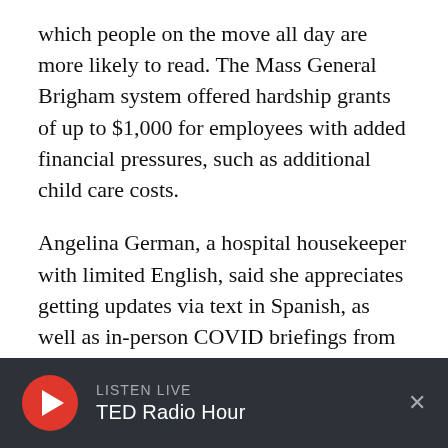which people on the move all day are more likely to read. The Mass General Brigham system offered hardship grants of up to $1,000 for employees with added financial pressures, such as additional child care costs.
Angelina German, a hospital housekeeper with limited English, said she appreciates getting updates via text in Spanish, as well as in-person COVID briefings from her bosses.
“Now they’re more aware of us all,” German said through an interpreter, “making sure people are taking care of themselves.”
LISTEN LIVE TED Radio Hour